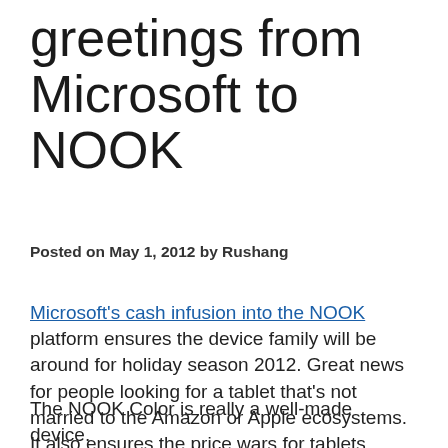greetings from Microsoft to NOOK
Posted on May 1, 2012 by Rushang
Microsoft's cash infusion into the NOOK platform ensures the device family will be around for holiday season 2012. Great news for people looking for a tablet that's not married to the Amazon or Apple ecosystems. It also ensures the price wars for tablets continue, and the consumer is able to get a tablet-form device for a fraction of the cost of more expensive systems that do just one thing well (e.g., gaming systems).
The NOOK Color is really a well-made device. With a few 2 changes you can use it if...